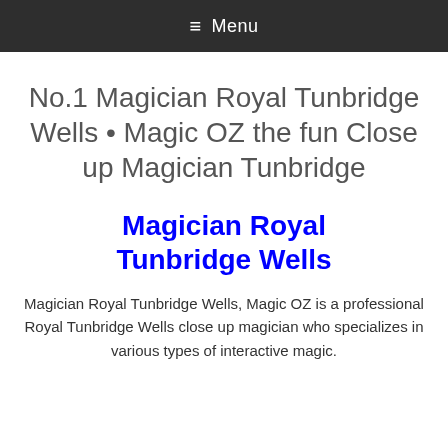≡ Menu
No.1 Magician Royal Tunbridge Wells • Magic OZ the fun Close up Magician Tunbridge
Magician Royal Tunbridge Wells
Magician Royal Tunbridge Wells, Magic OZ is a professional Royal Tunbridge Wells close up magician who specializes in various types of interactive magic.